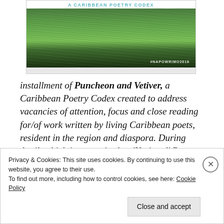[Figure (photo): Book cover image for 'A Caribbean Poetry Codex' showing grass/vetiver plants with hashtag #NAPOWRIMO2018 in bottom right corner]
installment of Puncheon and Vetiver, a Caribbean Poetry Codex created to address vacancies of attention, focus and close reading for/of work written by living Caribbean poets, resident in the region and diaspora. During April, which is recognized as 'National' Poetry Month, each installment will dialogue with a single
Privacy & Cookies: This site uses cookies. By continuing to use this website, you agree to their use. To find out more, including how to control cookies, see here: Cookie Policy
Close and accept